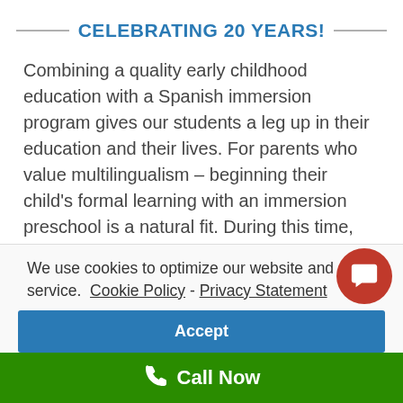CELEBRATING 20 YEARS!
Combining a quality early childhood education with a Spanish immersion program gives our students a leg up in their education and their lives. For parents who value multilingualism – beginning their child's formal learning with an immersion preschool is a natural fit. During this time, children's brains are hard-wired for language learning and pick it up naturally. Bilingual children expand
We use cookies to optimize our website and our service.  Cookie Policy -  Privacy Statement
Accept
Call Now